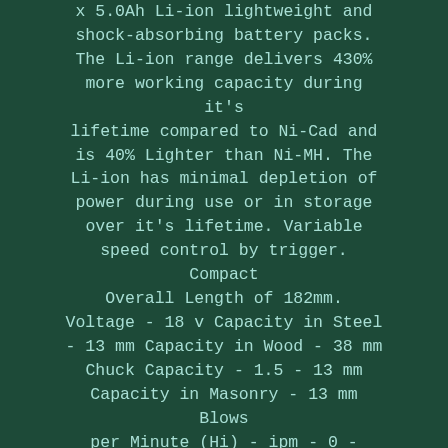x 5.0Ah Li-ion lightweight and shock-absorbing battery packs. The Li-ion range delivers 430% more working capacity during it's lifetime compared to Ni-Cad and is 40% Lighter than Ni-MH. The Li-ion has minimal depletion of power during use or in storage over it's lifetime. Variable speed control by trigger. Compact Overall Length of 182mm.
Voltage - 18 v Capacity in Steel - 13 mm Capacity in Wood - 38 mm Chuck Capacity - 1.5 - 13 mm Capacity in Masonry - 13 mm Blows per Minute (Hi) - ipm - 0 - 30,000 ipm Blows per Minute (Lo) - ipm - 0 - 7,500 ipm Noise sound pressure - 88 dB(A) Noise sound power - 99 dB(A) Noise K factor - 3 dB(A) No Load Speed (Hi) - 0 - 2,000 rpm No Load Speed (Lo) - 0